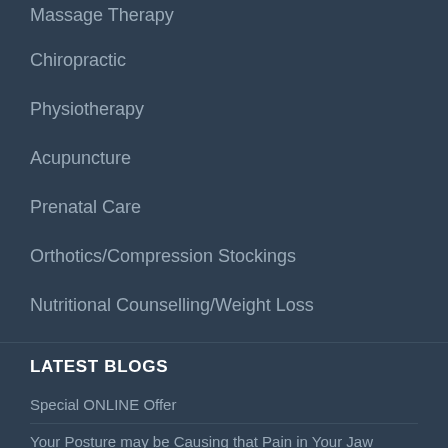Massage Therapy
Chiropractic
Physiotherapy
Acupuncture
Prenatal Care
Orthotics/Compression Stockings
Nutritional Counselling/Weight Loss
LATEST BLOGS
Special ONLINE Offer
Your Posture may be Causing that Pain in Your Jaw
Hug for Your Health, Love for Your Health
Massage Benefits
Damage at 0 km/hr – Why Sitting is Killing You
Groundbreaking Study Reveals Best Sexual Positions to Prevent Back Pain